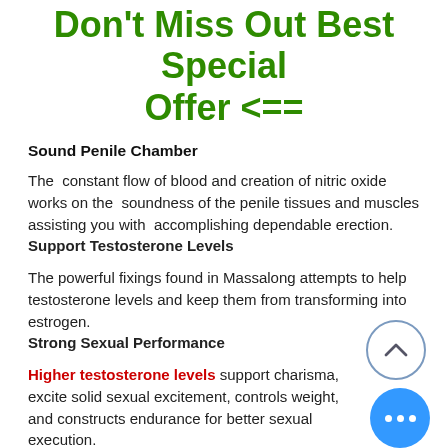Don't Miss Out Best Special Offer <==
Sound Penile Chamber
The constant flow of blood and creation of nitric oxide works on the soundness of the penile tissues and muscles assisting you with accomplishing dependable erection.
Support Testosterone Levels
The powerful fixings found in Massalong attempts to help testosterone levels and keep them from transforming into estrogen.
Strong Sexual Performance
Higher testosterone levels support charisma, excite solid sexual excitement, controls weight, and constructs endurance for better sexual execution.
Massalong Ingredients: